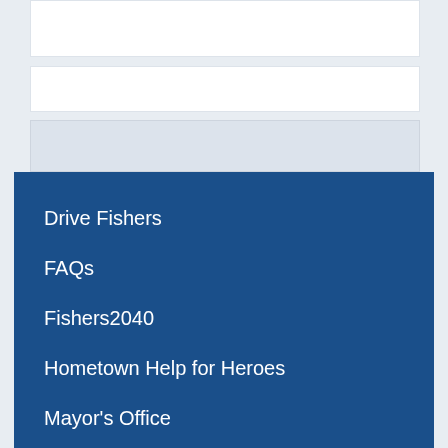Drive Fishers
FAQs
Fishers2040
Hometown Help for Heroes
Mayor's Office